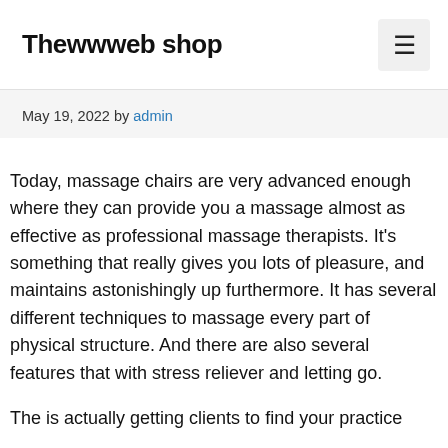Thewwweb shop
May 19, 2022 by admin
Today, massage chairs are very advanced enough where they can provide you a massage almost as effective as professional massage therapists. It’s something that really gives you lots of pleasure, and maintains astonishingly up furthermore. It has several different techniques to massage every part of physical structure. And there are also several features that with stress reliever and letting go.
The is actually getting clients to find your practice